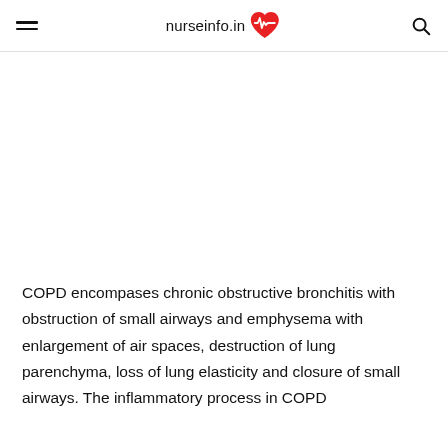nurseinfo.in
COPD encompases chronic obstructive bronchitis with obstruction of small airways and emphysema with enlargement of air spaces, destruction of lung parenchyma, loss of lung elasticity and closure of small airways. The inflammatory process in COPD